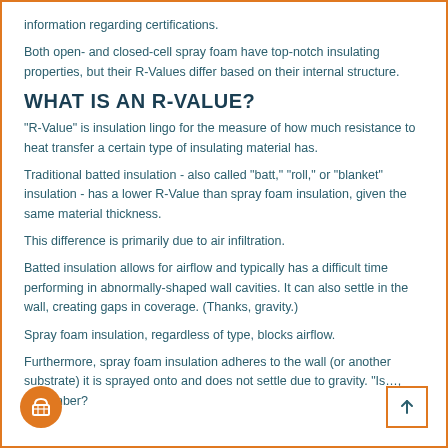information regarding certifications.
Both open- and closed-cell spray foam have top-notch insulating properties, but their R-Values differ based on their internal structure.
WHAT IS AN R-VALUE?
“R-Value” is insulation lingo for the measure of how much resistance to heat transfer a certain type of insulating material has.
Traditional batted insulation - also called “batt,” “roll,” or “blanket” insulation - has a lower R-Value than spray foam insulation, given the same material thickness.
This difference is primarily due to air infiltration.
Batted insulation allows for airflow and typically has a difficult time performing in abnormally-shaped wall cavities. It can also settle in the wall, creating gaps in coverage. (Thanks, gravity.)
Spray foam insulation, regardless of type, blocks airflow.
Furthermore, spray foam insulation adheres to the wall (or another substrate) it is sprayed onto and does not settle due to gravity. “Is…, remember?